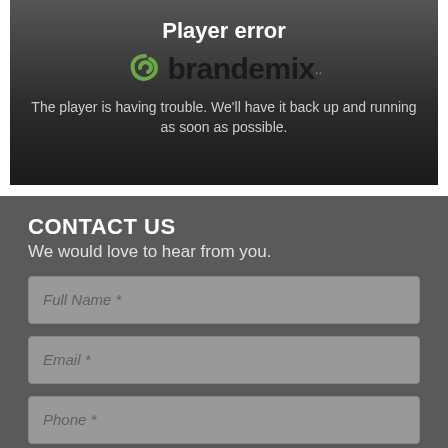[Figure (screenshot): Video player error screen showing brandemix logo and error message on dark gradient background]
CONTACT US
We would love to hear from you.
Full Name *
Email *
Phone *
Questions/Comments